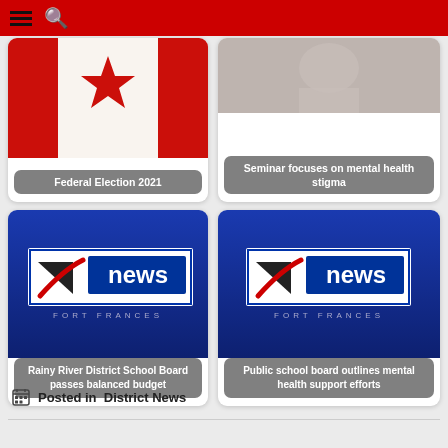Fort Frances News (navigation header)
[Figure (screenshot): News card: Canadian flag image with label 'Federal Election 2021']
[Figure (screenshot): News card: photo of people (mental health) with label 'Seminar focuses on mental health stigma']
[Figure (screenshot): News card: Fort Frances News logo on blue background with label 'Rainy River District School Board passes balanced budget']
[Figure (screenshot): News card: Fort Frances News logo on blue background with label 'Public school board outlines mental health support efforts']
Posted in  District News